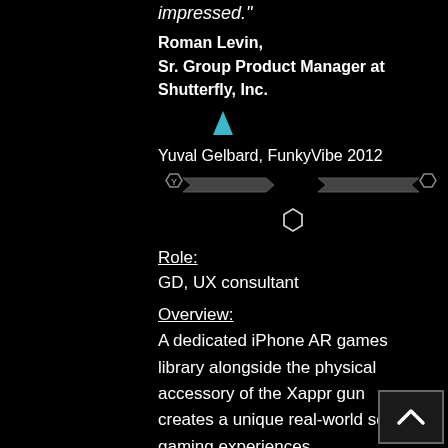impressed."
Roman Levin,
Sr. Group Product Manager at
Shutterfly, Inc.
[Figure (other): Small upward-pointing cyan/teal arrow icon centered on black background]
Yuval Gelbard, FunkyVibe 2012
[Figure (other): Sci-fi style horizontal divider bar with hexagonal Y emblem on left and plain hexagon on right, dark metallic design on black background]
[Figure (other): Small empty hexagon outline centered on black background]
Role:
GD, UX consultant
Overview:
A dedicated iPhone AR games library alongside the physical accessory of the Xappr gun creates a unique real-world social gaming experiences.
[Figure (other): Scroll-up button with upward chevron arrow, dark grey square button in bottom-right corner]